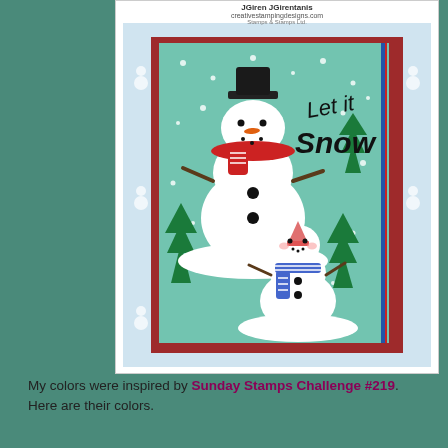[Figure (photo): A handmade greeting card featuring two snowmen on a mint/teal snowy background. The larger snowman wears a black top hat and red scarf, with the text 'Let it Snow' in handwritten style. A smaller snowman below wears a blue striped scarf and orange hat. The card is mounted on a dark red/crimson mat, surrounded by snowman-patterned wrapping paper border. White snow dots scattered throughout. Green trees visible on sides.]
My colors were inspired by Sunday Stamps Challenge #219. Here are their colors.